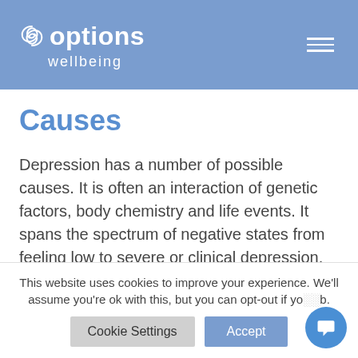options wellbeing
Causes
Depression has a number of possible causes. It is often an interaction of genetic factors, body chemistry and life events. It spans the spectrum of negative states from feeling low to severe or clinical depression.
This website uses cookies to improve your experience. We'll assume you're ok with this, but you can opt-out if you wish.